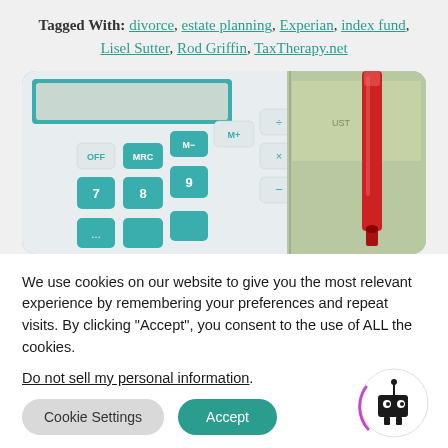Tagged With: divorce, estate planning, Experian, index fund, Lisel Sutter, Rod Griffin, TaxTherapy.net
[Figure (photo): Close-up photo of a teal/white calculator with visible keys (OFF, MRC, M-, M+, divide, multiply, 7, 8, 9, minus), US dollar bills partially visible in background, and a red pen on the right side.]
We use cookies on our website to give you the most relevant experience by remembering your preferences and repeat visits. By clicking "Accept", you consent to the use of ALL the cookies.
Do not sell my personal information.